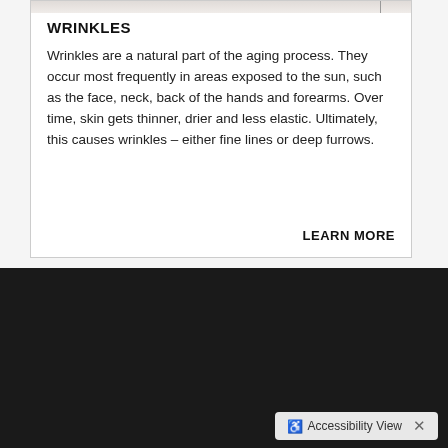WRINKLES
Wrinkles are a natural part of the aging process. They occur most frequently in areas exposed to the sun, such as the face, neck, back of the hands and forearms. Over time, skin gets thinner, drier and less elastic. Ultimately, this causes wrinkles – either fine lines or deep furrows.
LEARN MORE
Welcome to Our Practice
Welcome to All Dermis Dermatology, PC, Your Dermatologist in New York, NY